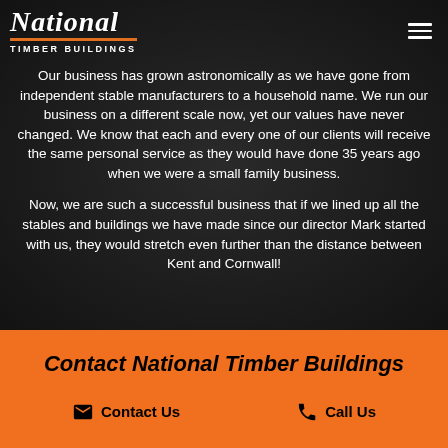[Figure (logo): National Timber Buildings logo with italic script 'National' text, orange underline, and 'TIMBER BUILDINGS' tagline below]
Our business has grown astronomically as we have gone from independent stable manufacturers to a household name. We run our business on a different scale now, yet our values have never changed. We know that each and every one of our clients will receive the same personal service as they would have done 35 years ago when we were a small family business.
Now, we are such a successful business that if we lined up all the stables and buildings we have made since our director Mark started with us, they would stretch even further than the distance between Kent and Cornwall!
Contact National Timber Buildings
Contact Us
Call Us